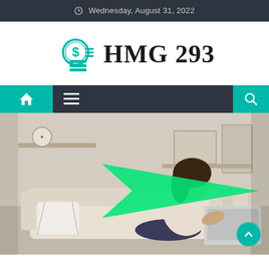Wednesday, August 31, 2022
[Figure (logo): HMG 293 logo with teal dollar-coin stack icon and serif bold text 'HMG 293']
[Figure (screenshot): Website navigation bar with teal home icon on left, dark background with hamburger menu, teal search icon on right]
[Figure (photo): Woman sitting on a sofa using a laptop computer in a living room. A large green arrow graphic overlays the center of the image. A teal scroll-to-top button appears in the bottom-right corner.]